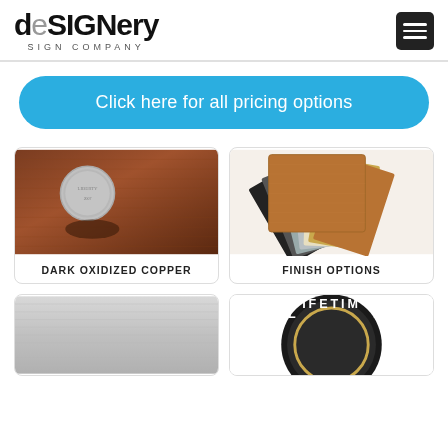[Figure (logo): deSIGNery Sign Company logo with stylized mixed-case lettering]
Click here for all pricing options
[Figure (photo): Dark oxidized copper brushed metal surface with a dime coin for scale]
DARK OXIDIZED COPPER
[Figure (photo): Fan of metal finish samples showing various colors including copper, silver, black, gold and others]
FINISH OPTIONS
[Figure (photo): Brushed silver/aluminum metal surface texture]
[Figure (photo): Circular lifetime warranty badge/logo with dark background]